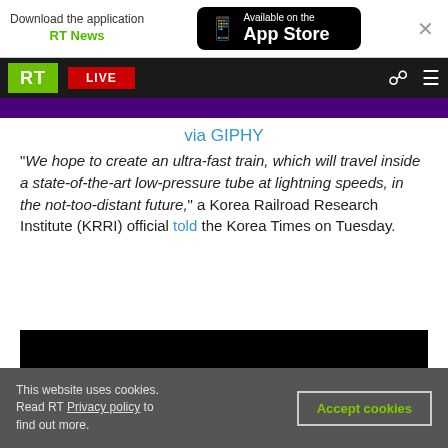Download the application RT News — Available on the App Store
[Figure (screenshot): RT website navigation bar with RT logo (green), LIVE button (red), search icon, and hamburger menu on dark background]
via GIPHY
“We hope to create an ultra-fast train, which will travel inside a state-of-the-art low-pressure tube at lightning speeds, in the not-too-distant future,” a Korea Railroad Research Institute (KRRI) official told the Korea Times on Tuesday.
[Figure (photo): Black video/media embed area]
This website uses cookies. Read RT Privacy policy to find out more.